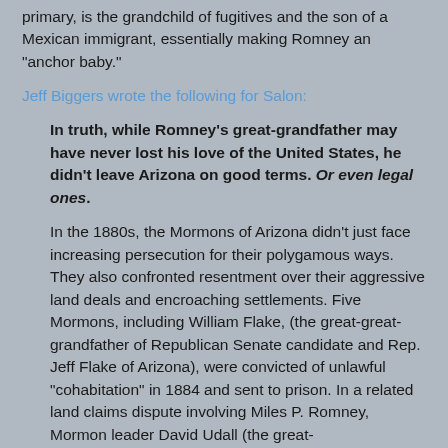primary, is the grandchild of fugitives and the son of a Mexican immigrant, essentially making Romney an "anchor baby."
Jeff Biggers wrote the following for Salon:
In truth, while Romney's great-grandfather may have never lost his love of the United States, he didn't leave Arizona on good terms. Or even legal ones.
In the 1880s, the Mormons of Arizona didn't just face increasing persecution for their polygamous ways. They also confronted resentment over their aggressive land deals and encroaching settlements. Five Mormons, including William Flake, (the great-great-grandfather of Republican Senate candidate and Rep. Jeff Flake of Arizona), were convicted of unlawful "cohabitation" in 1884 and sent to prison. In a related land claims dispute involving Miles P. Romney, Mormon leader David Udall (the great-